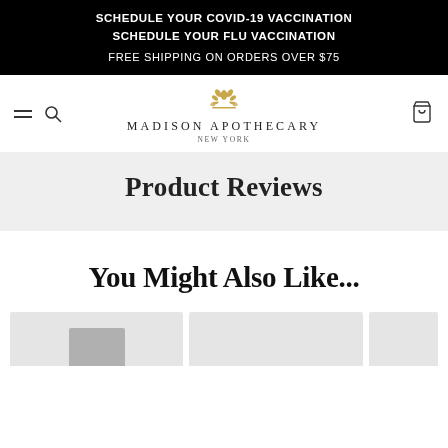SCHEDULE YOUR COVID-19 VACCINATION
SCHEDULE YOUR FLU VACCINATION
FREE SHIPPING ON ORDERS OVER $75
[Figure (logo): Madison Apothecary New York logo with decorative gold floral emblem above the text]
Product Reviews
You Might Also Like...
[Figure (photo): Partially visible product card image at the bottom of the page]